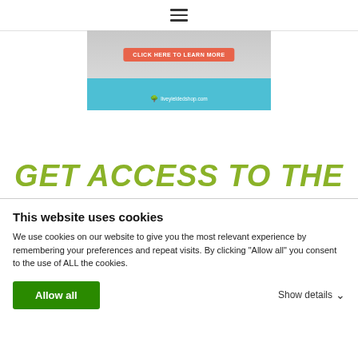[Figure (screenshot): Navigation hamburger menu icon (three horizontal lines) centered at top of page]
[Figure (screenshot): Advertisement banner with coral/salmon 'CLICK HERE TO LEARN MORE' button on gray background, teal footer strip with tree icon and 'liveyieldedshop.com' text]
GET ACCESS TO THE FREE LIBRARY
This website uses cookies
We use cookies on our website to give you the most relevant experience by remembering your preferences and repeat visits. By clicking “Allow all” you consent to the use of ALL the cookies.
Allow all
Show details